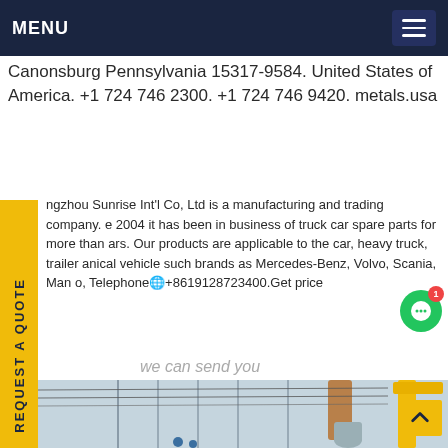MENU
Canonsburg Pennsylvania 15317-9584. United States of America. +1 724 746 2300. +1 724 746 9420. metals.usa
ngzhou Sunrise Int'l Co, Ltd is a manufacturing and trading company. e 2004 it has been in business of truck car spare parts for more than ars. Our products are applicable to the car, heavy truck, trailer anical vehicle such brands as Mercedes-Benz, Volvo, Scania, Man o, Telephone🌐+8619128723400.Get price
REQUEST A QUOTE
we can send you
[Figure (photo): Industrial electrical substation with high-voltage equipment, transformers, insulators on poles, yellow crane on right, workers in blue helmets visible at bottom, overcast sky.]